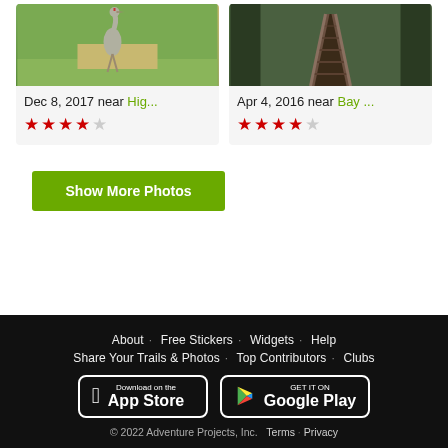[Figure (photo): Photo card showing a sandhill crane bird standing in grassy/sandy area, dated Dec 8, 2017 near Hig... with 4-star rating]
[Figure (photo): Photo card showing a wooden boardwalk through a forest, dated Apr 4, 2016 near Bay... with 4-star rating]
Show More Photos
About · Free Stickers · Widgets · Help
Share Your Trails & Photos · Top Contributors · Clubs
Download on the App Store | GET IT ON Google Play
© 2022 Adventure Projects, Inc. Terms · Privacy